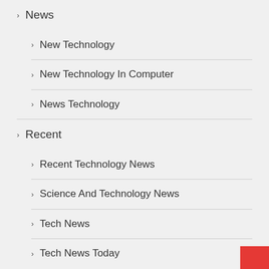News
New Technology
New Technology In Computer
News Technology
Recent
Recent Technology News
Science And Technology News
Tech News
Tech News Today